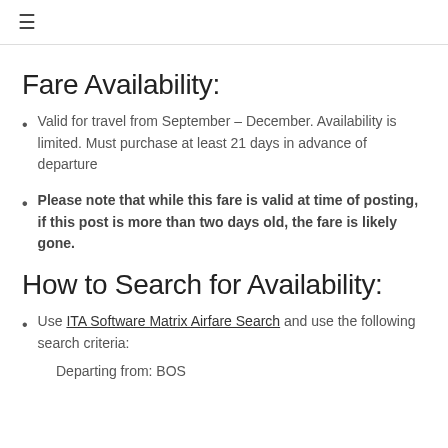≡
Fare Availability:
Valid for travel from September – December. Availability is limited. Must purchase at least 21 days in advance of departure
Please note that while this fare is valid at time of posting, if this post is more than two days old, the fare is likely gone.
How to Search for Availability:
Use ITA Software Matrix Airfare Search and use the following search criteria:
Departing from: BOS